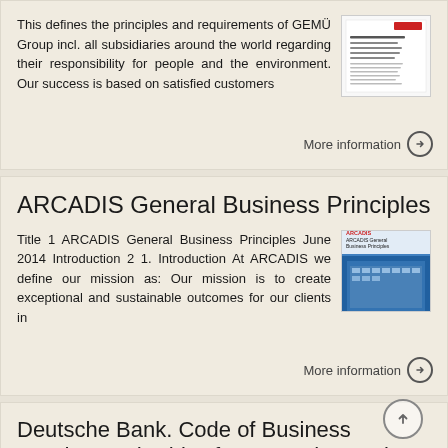This defines the principles and requirements of GEMÜ Group incl. all subsidiaries around the world regarding their responsibility for people and the environment. Our success is based on satisfied customers
[Figure (illustration): Thumbnail image of GEMÜ document - a white page with red logo and text lines]
More information →
ARCADIS General Business Principles
Title 1 ARCADIS General Business Principles June 2014 Introduction 2 1. Introduction At ARCADIS we define our mission as: Our mission is to create exceptional and sustainable outcomes for our clients in
[Figure (photo): Cover image of ARCADIS General Business Principles booklet - showing a modern building with blue sky, with white overlay text]
More information →
Deutsche Bank. Code of Business Conduct and Ethics for Deutsche Bank Group.